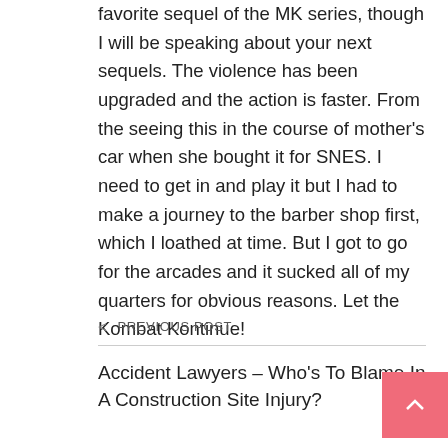favorite sequel of the MK series, though I will be speaking about your next sequels. The violence has been upgraded and the action is faster. From the seeing this in the course of mother's car when she bought it for SNES. I need to get in and play it but I had to make a journey to the barber shop first, which I loathed at time. But I got to go for the arcades and it sucked all of my quarters for obvious reasons. Let the Kombat Kontinue!
< PREVIOUS POST
Accident Lawyers – Who's To Blame In A Construction Site Injury?